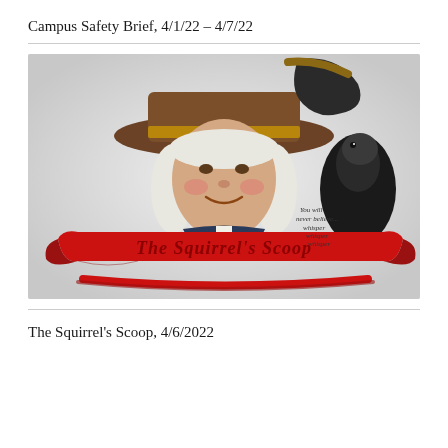Campus Safety Brief, 4/1/22 – 4/7/22
[Figure (illustration): Illustrated logo for 'The Squirrel's Scoop' featuring a colonial-era figure wearing a wide-brimmed hat with a squirrel perched on it, and a red banner ribbon in front reading 'The Squirrel's Scoop' in decorative script. Small italic text reads 'You will never believe... whisper whisper whisper'.]
The Squirrel's Scoop, 4/6/2022